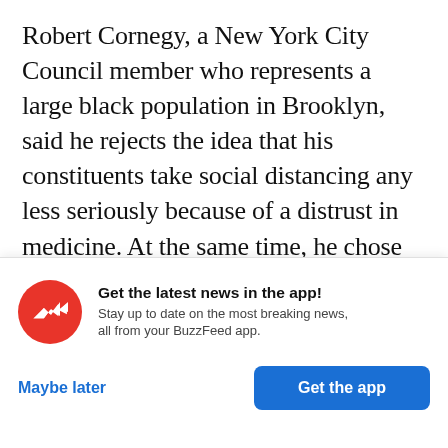Robert Cornegy, a New York City Council member who represents a large black population in Brooklyn, said he rejects the idea that his constituents take social distancing any less seriously because of a distrust in medicine. At the same time, he chose to keep his own COVID-19 diagnosis private.
“I think that people were very confused about
[Figure (infographic): BuzzFeed app promotional banner with red circular BuzzFeed logo (white trending arrow), bold text 'Get the latest news in the app!', subtext 'Stay up to date on the most breaking news, all from your BuzzFeed app.', with 'Maybe later' (blue text) and 'Get the app' (blue button) options.]